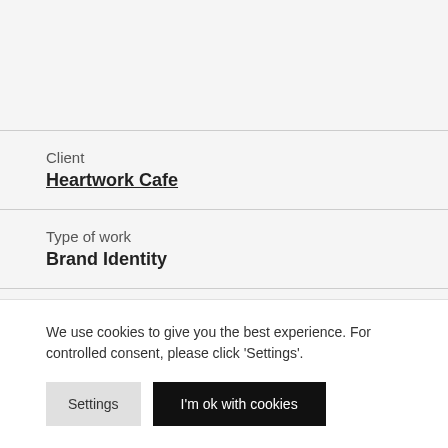Client
Heartwork Cafe
Type of work
Brand Identity
Sector
We use cookies to give you the best experience. For controlled consent, please click 'Settings'.